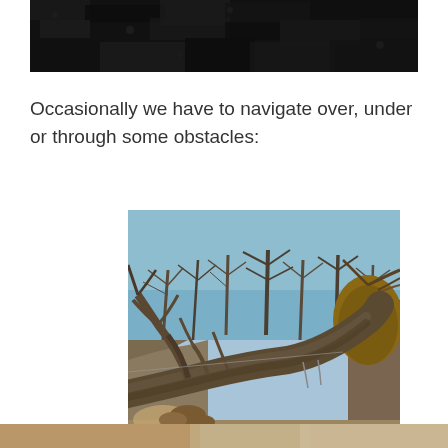[Figure (photo): Top portion of a photo showing dark black/charcoal colored rocks or gravel surface, cropped at the top of the page.]
Occasionally we have to navigate over, under or through some obstacles:
[Figure (photo): A large fallen tree trunk lying across a woodland path or trail. The tree has fallen diagonally across a hillside cutting. Bare winter trees are visible against a blue sky in the background. Brown leaf litter covers the ground.]
[Figure (photo): Bottom partial image, appears to show another outdoor scene, partially cropped at bottom of page.]